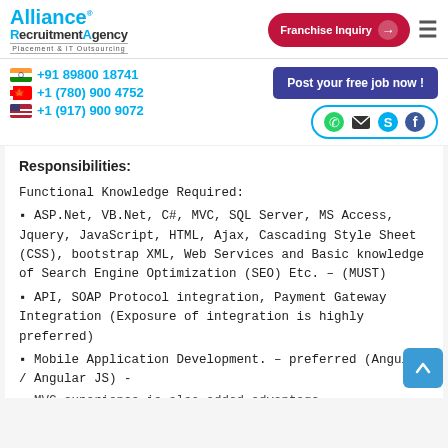[Figure (logo): Alliance Recruitment Agency logo with tagline Placement & IT Outsourcing]
[Figure (other): Franchise Inquiry button with arrow and hamburger menu icon]
+91 89800 18741
+1 (780) 900 4752
+1 (917) 900 9072
[Figure (other): Post your free job now! button]
[Figure (other): Social media icons: WhatsApp, Email, Skype, Facebook]
Responsibilities:
Functional Knowledge Required:
ASP.Net, VB.Net, C#, MVC, SQL Server, MS Access, Jquery, JavaScript, HTML, Ajax, Cascading Style Sheet (CSS), bootstrap XML, Web Services and Basic knowledge of Search Engine Optimization (SEO) Etc. – (MUST)
API, SOAP Protocol integration, Payment Gateway Integration (Exposure of integration is highly preferred)
Mobile Application Development. – preferred (Angular / Angular JS) -
MVC experience is also added advantage